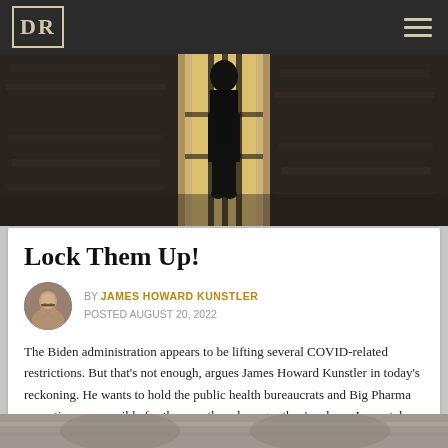DR
[Figure (photo): Dark atmospheric photo of a person standing at barred prison window with light streaming through]
Lock Them Up!
BY JAMES HOWARD KUNSTLER
POSTED AUGUST 20, 2022
The Biden administration appears to be lifting several COVID-related restrictions. But that's not enough, argues James Howard Kunstler in today's reckoning. He wants to hold the public health bureaucrats and Big Pharma executives responsible for the countless damages they've done. James takes no prisoners.